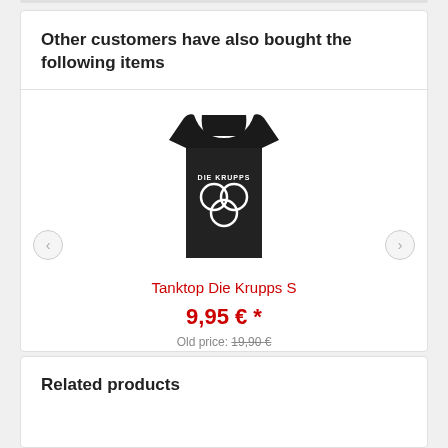Other customers have also bought the following items
[Figure (photo): Black tank top with Die Krupps logo and infinity symbol on front]
Tanktop Die Krupps S
9,95 € *
Old price: 19,90 €
Related products